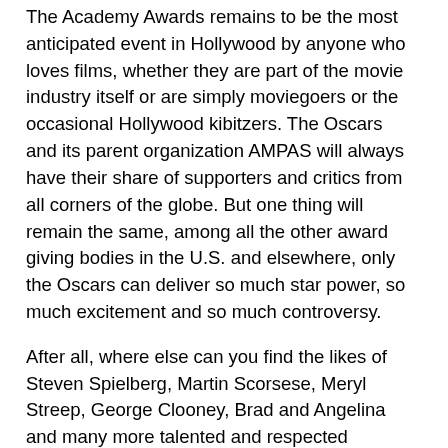The Academy Awards remains to be the most anticipated event in Hollywood by anyone who loves films, whether they are part of the movie industry itself or are simply moviegoers or the occasional Hollywood kibitzers. The Oscars and its parent organization AMPAS will always have their share of supporters and critics from all corners of the globe. But one thing will remain the same, among all the other award giving bodies in the U.S. and elsewhere, only the Oscars can deliver so much star power, so much excitement and so much controversy.
After all, where else can you find the likes of Steven Spielberg, Martin Scorsese, Meryl Streep, George Clooney, Brad and Angelina and many more talented and respected Hollywood heavyweights sharing the night with an adorable and equally talented canine named Uggie from "The Artist", a world famous green amphibian named Kermit, and THE fabulous pink swine Ms. Piggy? Only at the Oscars!